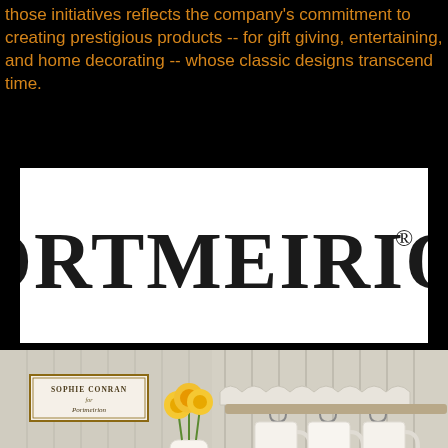those initiatives reflects the company's commitment to creating prestigious products -- for gift giving, entertaining, and home decorating -- whose classic designs transcend time.
[Figure (logo): Portmeirion brand logo in large serif font on white background]
[Figure (photo): Photo of white Portmeirion ceramics (Sophie Conran range) including pitchers, bowls, teapot, mugs, and teacup with saucer arranged on a rustic table setting with yellow flowers]
Portmeirion Group PLC is a British Group based in Stoke-on-Trent and listed on the Alternative Investment Market of the